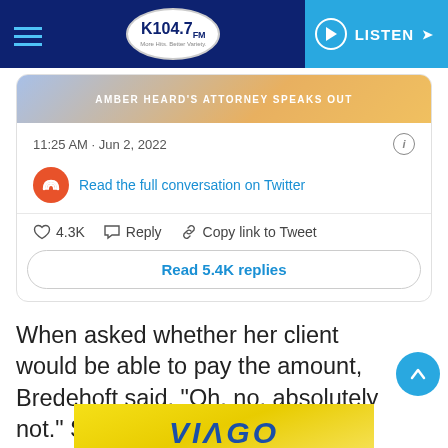K104.7 — LISTEN
[Figure (screenshot): Partial tweet screenshot showing image banner 'AMBER HEARD'S ATTORNEY SPEAKS OUT', timestamp '11:25 AM · Jun 2, 2022', a link 'Read the full conversation on Twitter', action counts '♡ 4.3K  Reply  Copy link to Tweet', and a button 'Read 5.4K replies']
When asked whether her client would be able to pay the amount, Bredehoft said, "Oh, no, absolutely not." So it looks like this story has not yet ended.
[Figure (photo): Bottom of page advertisement with yellow sunburst background, partial text visible]